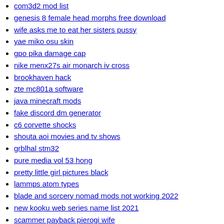com3d2 mod list
genesis 8 female head morphs free download
wife asks me to eat her sisters pussy
yae miko osu skin
gpo pika damage cap
nike menx27s air monarch iv cross
brookhaven hack
zte mc801a software
java minecraft mods
fake discord dm generator
c6 corvette shocks
shouta aoi movies and tv shows
grblhal stm32
pure media vol 53 hong
pretty little girl pictures black
lammps atom types
blade and sorcery nomad mods not working 2022
new kooku web series name list 2021
scammer payback pierogi wife
star sessions photos
bengali web series actress
sex indonesian girl
bfdi bfb games
hot photos of girls
samsung ultra slim wall mount
bts flashing apk